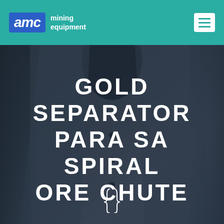AMC mining equipment
GOLD SEPARATOR PARA SA SPIRAL ORE CHUTE
[Figure (photo): Background photo of a person wearing a grey blazer/jacket, with the hero title text overlaid. A decorative curly bracket symbol appears at the bottom center.]